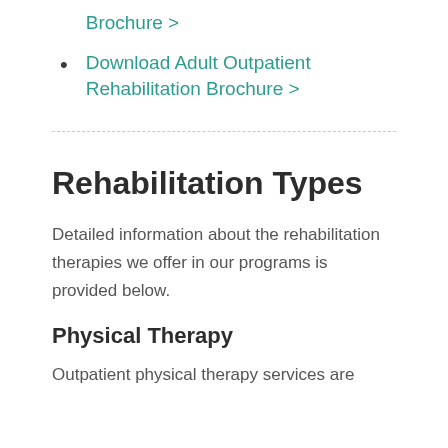Brochure >
Download Adult Outpatient Rehabilitation Brochure >
Rehabilitation Types
Detailed information about the rehabilitation therapies we offer in our programs is provided below.
Physical Therapy
Outpatient physical therapy services are